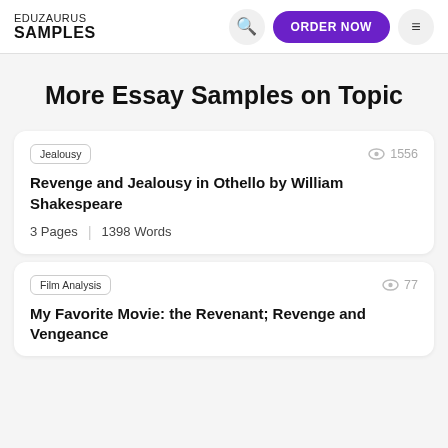EDUZAURUS SAMPLES — ORDER NOW
More Essay Samples on Topic
Jealousy  1556
Revenge and Jealousy in Othello by William Shakespeare
3 Pages  |  1398 Words
Film Analysis  77
My Favorite Movie: the Revenant; Revenge and Vengeance